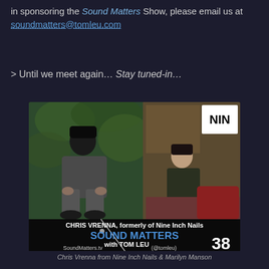in sponsoring the Sound Matters Show, please email us at soundmatters@tomleu.com
> Until we meet again… Stay tuned-in…
[Figure (photo): Promotional image for Sound Matters with Tom Leu Episode 38 featuring Chris Vrenna, formerly of Nine Inch Nails. Left side shows a man with dark hair crouching outdoors among foliage. Right side shows another person seated indoors with a NIN logo in the top right corner. Bottom black band reads: CHRIS VRENNA, formerly of Nine Inch Nails / SOUND MATTERS with TOM LEU 38 / SoundMatters.tv (@tomleu)]
Chris Vrenna from Nine Inch Nails & Marilyn Manson